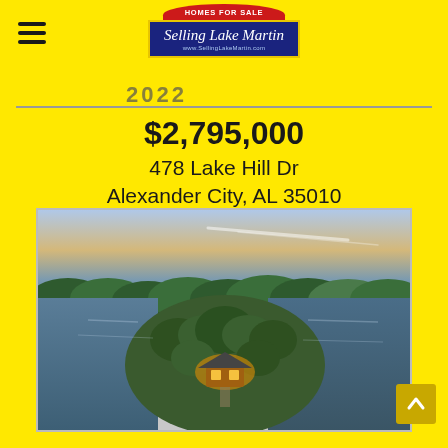Selling Lake Martin - Homes For Sale - www.SellingLakeMartin.com
$2,795,000
478 Lake Hill Dr
Alexander City, AL 35010
[Figure (photo): Aerial drone photo of a lakefront property on a wooded peninsula surrounded by blue lake water with a house visible among trees at sunset/dusk]
Scroll to top button (arrow up icon)